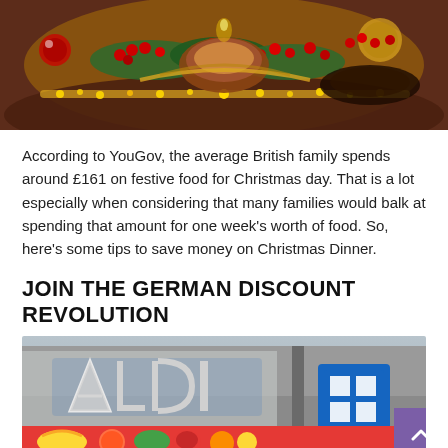[Figure (photo): Christmas dinner table decoration with red berries, holly, gold ornaments, and festive food arrangement with warm golden lighting]
According to YouGov, the average British family spends around £161 on festive food for Christmas day. That is a lot especially when considering that many families would balk at spending that amount for one week's worth of food. So, here's some tips to save money on Christmas Dinner.
JOIN THE GERMAN DISCOUNT REVOLUTION
[Figure (photo): Exterior of an Aldi supermarket store showing the ALDI sign and storefront with fruit and vegetable display graphics, with 'delivered' text visible at bottom]